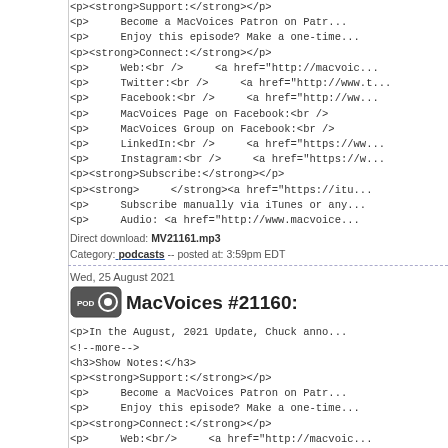<p><strong>Support:</strong></p>
<p>    Become a MacVoices Patron on Patr...
<p>    Enjoy this episode? Make a one-time...
<p><strong>Connect:</strong></p>
<p>    Web:<br />    <a href="http://macvoic...
<p>    Twitter:<br />    <a href="http://www.t...
<p>    Facebook:<br />    <a href="http://ww...
<p>    MacVoices Page on Facebook:<br />
<p>    MacVoices Group on Facebook:<br />
<p>    LinkedIn:<br />    <a href="https://ww...
<p>    Instagram:<br />    <a href="https://w...
<p><strong>Subscribe:</strong></p>
<p><strong>    </strong><a href="https://itu...
<p>    Subscribe manually via iTunes or any...
<p>    Audio: <a href="http://www.macvoice...
Direct download: MV21161.mp3
Category: podcasts -- posted at: 3:59pm EDT
Wed, 25 August 2021
MacVoices #21160:
<p>In the August, 2021 Update, Chuck anno...
<!--more-->
<h3>Show Notes:</h3>
<p><strong>Support:</strong></p>
<p>    Become a MacVoices Patron on Patr...
<p>    Enjoy this episode? Make a one-time...
<p><strong>Connect:</strong></p>
<p>    Web:<br/>    <a href="http://macvoic...
<p>    Twitter:<br/>    <a href="http://www.t...
<p>    Facebook:<br/>    <a href="http://ww...
<p>    MacVoices Page on Facebook:<br/>
<p>    MacVoices Group on Facebook:<br/>
<p>    LinkedIn:<br/>    <a href="https://ww...
<p>    Instagram:<br/>    <a href="https://w...